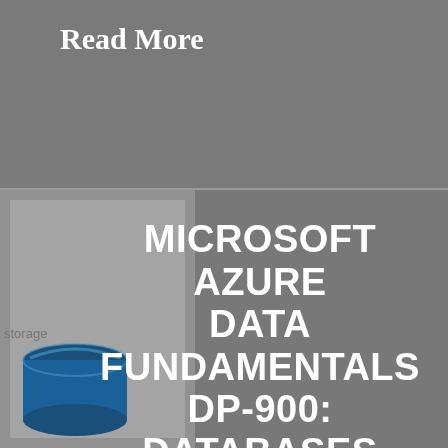Read More
[Figure (screenshot): Partial screenshot of a Microsoft Azure Data storage icon with a dark blue cylinder/database icon and the text 'storage' partially visible, against a grey background.]
MICROSOFT AZURE DATA FUNDAMENTALS DP-900: DATABASES CHEAT